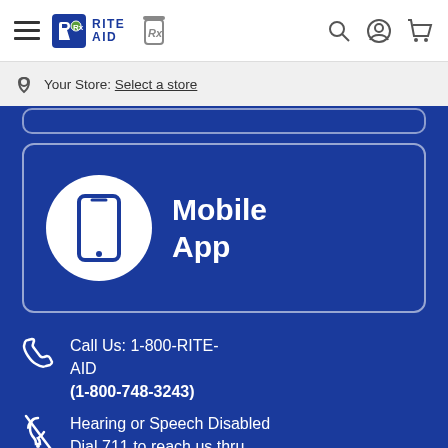Rite Aid — navigation header with hamburger menu, logo, Rx icon, search, account, and cart icons
Your Store: Select a store
[Figure (illustration): Mobile App card with white circle containing blue smartphone icon on blue background with white border]
Mobile App
Call Us: 1-800-RITE-AID (1-800-748-3243)
Hearing or Speech Disabled Dial 711 to reach us thru